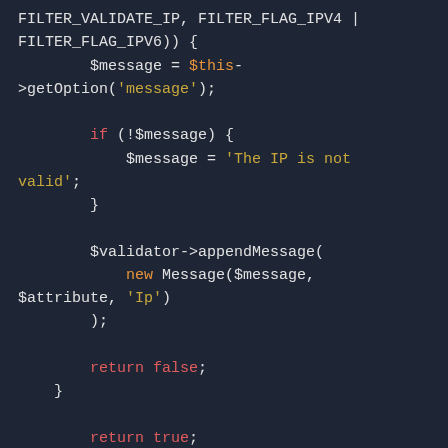[Figure (screenshot): PHP code snippet showing IP validation logic with syntax highlighting on dark background. Code includes FILTER_VALIDATE_IP, FILTER_FLAG_IPV4, FILTER_FLAG_IPV6 checks, message assignment, if block, appendMessage call, and return statements.]